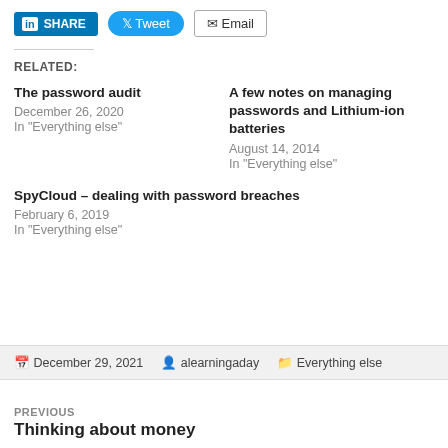[Figure (other): Social share buttons: LinkedIn SHARE, Tweet, Email]
RELATED:
The password audit
December 26, 2020
In "Everything else"
A few notes on managing passwords and Lithium-ion batteries
August 14, 2014
In "Everything else"
SpyCloud – dealing with password breaches
February 6, 2019
In "Everything else"
December 29, 2021   alearningaday   Everything else
PREVIOUS
Thinking about money